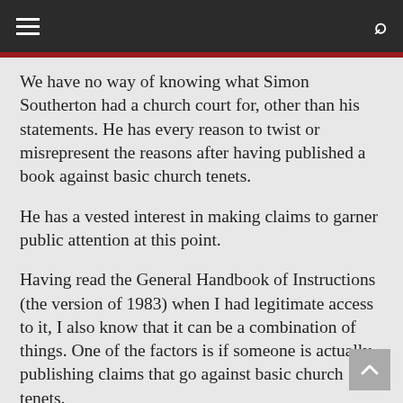navigation bar with menu and search icons
We have no way of knowing what Simon Southerton had a church court for, other than his statements. He has every reason to twist or misrepresent the reasons after having published a book against basic church tenets.
He has a vested interest in making claims to garner public attention at this point.
Having read the General Handbook of Instructions (the version of 1983) when I had legitimate access to it, I also know that it can be a combination of things. One of the factors is if someone is actually publishing claims that go against basic church tenets.
Making yourself a public figure, or being